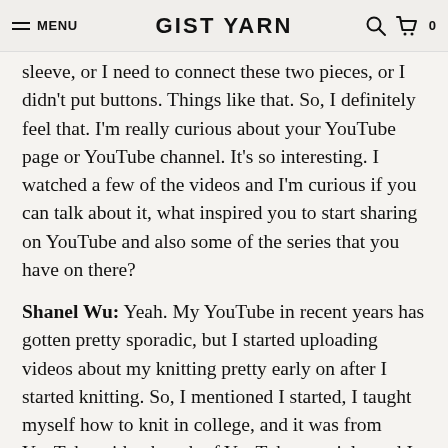MENU | GIST YARN
sleeve, or I need to connect these two pieces, or I didn't put buttons. Things like that. So, I definitely feel that. I'm really curious about your YouTube page or YouTube channel. It's so interesting. I watched a few of the videos and I'm curious if you can talk about it, what inspired you to start sharing on YouTube and also some of the series that you have on there?
Shanel Wu: Yeah. My YouTube in recent years has gotten pretty sporadic, but I started uploading videos about my knitting pretty early on after I started knitting. So, I mentioned I started, I taught myself how to knit in college, and it was from YouTube with a bunch of YouTube tutorials, and I